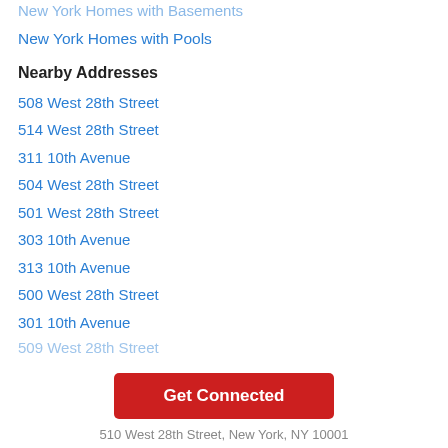New York Homes with Basements
New York Homes with Pools
Nearby Addresses
508 West 28th Street
514 West 28th Street
311 10th Avenue
504 West 28th Street
501 West 28th Street
303 10th Avenue
313 10th Avenue
500 West 28th Street
301 10th Avenue
509 West 28th Street
Get Connected
510 West 28th Street, New York, NY 10001